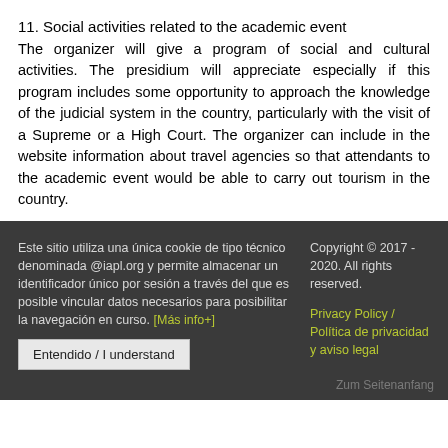11. Social activities related to the academic event
The organizer will give a program of social and cultural activities. The presidium will appreciate especially if this program includes some opportunity to approach the knowledge of the judicial system in the country, particularly with the visit of a Supreme or a High Court. The organizer can include in the website information about travel agencies so that attendants to the academic event would be able to carry out tourism in the country.
Este sitio utiliza una única cookie de tipo técnico denominada @iapl.org y permite almacenar un identificador único por sesión a través del que es posible vincular datos necesarios para posibilitar la navegación en curso. [Más info+] Entendido / I understand | Copyright © 2017 - 2020. All rights reserved. | Privacy Policy / Política de privacidad y aviso legal | Zum Seitenanfang